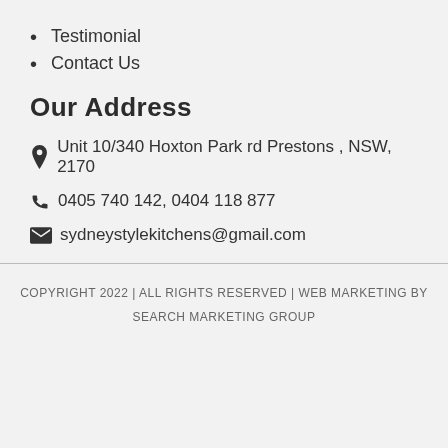Testimonial
Contact Us
Our Address
Unit 10/340 Hoxton Park rd Prestons , NSW, 2170
0405 740 142, 0404 118 877
sydneystylekitchens@gmail.com
COPYRIGHT 2022 | ALL RIGHTS RESERVED | WEB MARKETING BY SEARCH MARKETING GROUP